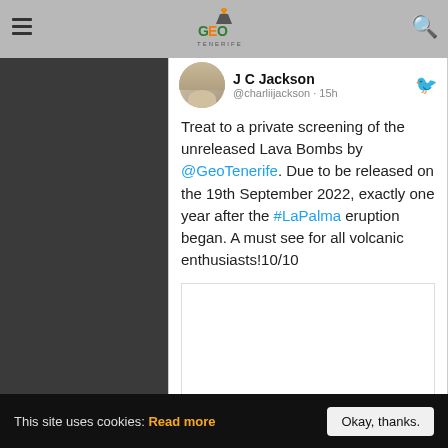GEO TENERIFE
J C Jackson @charliijackson · 15h
Treat to a private screening of the unreleased Lava Bombs by @GeoTenerife. Due to be released on the 19th September 2022, exactly one year after the #LaPalma eruption began. A must see for all volcanic enthusiasts!10/10
[Figure (screenshot): Embedded media thumbnail area (white/blank)]
❤ 14
This site uses cookies: Read more   Okay, thanks.